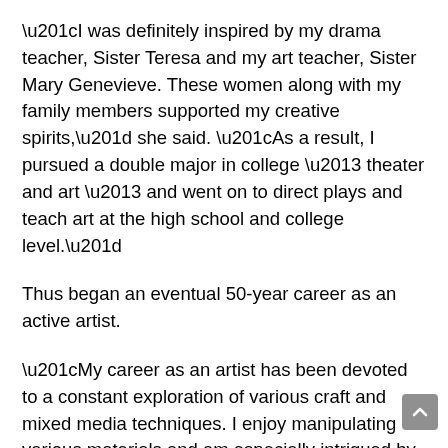“I was definitely inspired by my drama teacher, Sister Teresa and my art teacher, Sister Mary Genevieve. These women along with my family members supported my creative spirits,” she said. “As a result, I pursued a double major in college – theater and art – and went on to direct plays and teach art at the high school and college level.”
Thus began an eventual 50-year career as an active artist.
“My career as an artist has been devoted to a constant exploration of various craft and mixed media techniques. I enjoy manipulating various materials and am especially intrigued by the element of surprise,” LoGiudice said. “My works are a journey that draw on a rich repertoire of experiences. They are about places I have been, people I